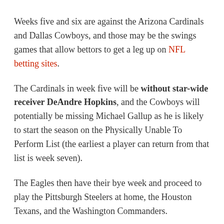Weeks five and six are against the Arizona Cardinals and Dallas Cowboys, and those may be the swings games that allow bettors to get a leg up on NFL betting sites.
The Cardinals in week five will be without star-wide receiver DeAndre Hopkins, and the Cowboys will potentially be missing Michael Gallup as he is likely to start the season on the Physically Unable To Perform List (the earliest a player can return from that list is week seven).
The Eagles then have their bye week and proceed to play the Pittsburgh Steelers at home, the Houston Texans, and the Washington Commanders.
Based on preseason win projections and any third-year leap Jalen Hurts makes, the Eagles may be at eight wins by week ten.
In the last five weeks of the season, 4/5 of the teams the